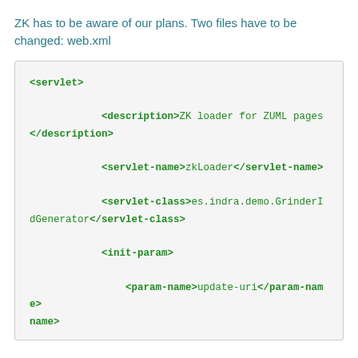ZK has to be aware of our plans. Two files have to be changed: web.xml
<servlet>

            <description>ZK loader for ZUML pages</description>

            <servlet-name>zkLoader</servlet-name>

            <servlet-class>es.indra.demo.GrinderIdGenerator</servlet-class>

            <init-param>

                <param-name>update-uri</param-name>
name>